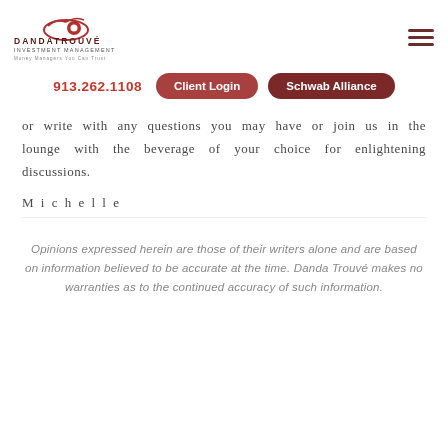[Figure (logo): Danda Trouvé Investment Management logo with red circular emblem and tagline 'Money Managers You Can Trust']
913.262.1108
Client Login
Schwab Alliance
or write with any questions you may have or join us in the lounge with the beverage of your choice for enlightening discussions.
Michelle
Opinions expressed herein are those of their writers alone and are based on information believed to be accurate at the time. Danda Trouvé makes no warranties as to the continued accuracy of such information.